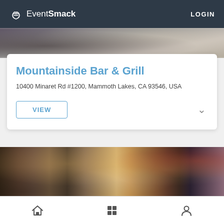EventSmack   LOGIN
[Figure (photo): Blurred photo strip at top of page showing crowd or people]
Mountainside Bar & Grill
10400 Minaret Rd #1200, Mammoth Lakes, CA 93546, USA
VIEW
[Figure (photo): Interior photo of a bar with beer taps, merchandise t-shirts hanging on walls, a bear painting, and a bartender in a dark jacket]
Home   Grid   Profile (navigation icons)